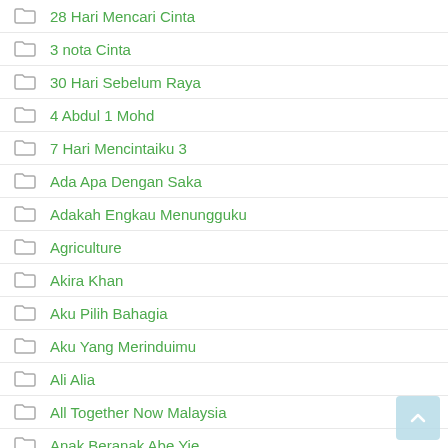28 Hari Mencari Cinta
3 nota Cinta
30 Hari Sebelum Raya
4 Abdul 1 Mohd
7 Hari Mencintaiku 3
Ada Apa Dengan Saka
Adakah Engkau Menungguku
Agriculture
Akira Khan
Aku Pilih Bahagia
Aku Yang Merinduimu
Ali Alia
All Together Now Malaysia
Anak Beranak Abe Yie